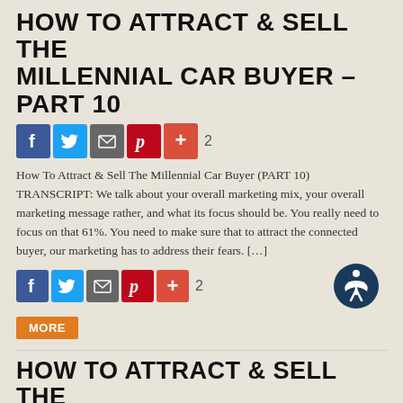HOW TO ATTRACT & SELL THE MILLENNIAL CAR BUYER – PART 10
[Figure (infographic): Social share buttons: Facebook (blue), Twitter (light blue), Email (grey), Pinterest (red), Plus/more (orange-red), share count: 2]
How To Attract & Sell The Millennial Car Buyer (PART 10) TRANSCRIPT: We talk about your overall marketing mix, your overall marketing message rather, and what its focus should be. You really need to focus on that 61%. You need to make sure that to attract the connected buyer, our marketing has to address their fears. […]
[Figure (infographic): Social share buttons row: Facebook (blue), Twitter (light blue), Email (grey), Pinterest (red), Plus (orange-red), share count: 2, accessibility icon (dark blue circle with person) on right]
MORE
HOW TO ATTRACT & SELL THE MILLENNIAL CAR BUYER – PART 9
[Figure (infographic): Social share buttons: Facebook (blue), Twitter (light blue), Email (grey), Pinterest (red), Plus (orange-red)]
How To Attract & Sell The Millennial Car Buyer (PART 9) TRANSCRIPT: